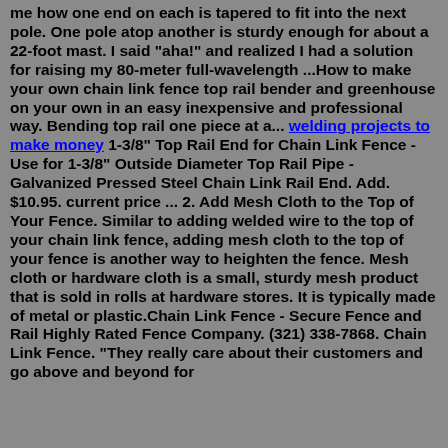me how one end on each is tapered to fit into the next pole. One pole atop another is sturdy enough for about a 22-foot mast. I said "aha!" and realized I had a solution for raising my 80-meter full-wavelength ...How to make your own chain link fence top rail bender and greenhouse on your own in an easy inexpensive and professional way. Bending top rail one piece at a... welding projects to make money 1-3/8" Top Rail End for Chain Link Fence - Use for 1-3/8" Outside Diameter Top Rail Pipe - Galvanized Pressed Steel Chain Link Rail End. Add. $10.95. current price ... 2. Add Mesh Cloth to the Top of Your Fence. Similar to adding welded wire to the top of your chain link fence, adding mesh cloth to the top of your fence is another way to heighten the fence. Mesh cloth or hardware cloth is a small, sturdy mesh product that is sold in rolls at hardware stores. It is typically made of metal or plastic.Chain Link Fence - Secure Fence and Rail Highly Rated Fence Company. (321) 338-7868. Chain Link Fence. "They really care about their customers and go above and beyond for